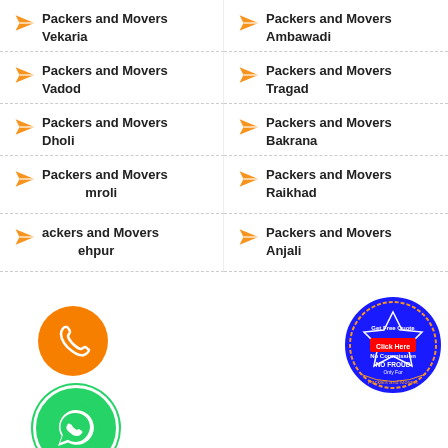Packers and Movers Vekaria
Packers and Movers Ambawadi
Packers and Movers Vadod
Packers and Movers Tragad
Packers and Movers Dholi
Packers and Movers Bakrana
Packers and Movers Amroli
Packers and Movers Raikhad
Packers and Movers Jodhpur
Packers and Movers Anjali